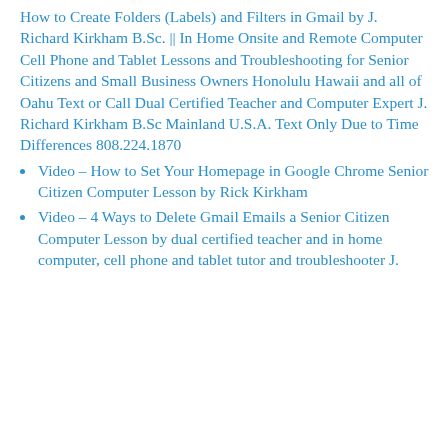How to Create Folders (Labels) and Filters in Gmail by J. Richard Kirkham B.Sc. || In Home Onsite and Remote Computer Cell Phone and Tablet Lessons and Troubleshooting for Senior Citizens and Small Business Owners Honolulu Hawaii and all of Oahu Text or Call Dual Certified Teacher and Computer Expert J. Richard Kirkham B.Sc Mainland U.S.A. Text Only Due to Time Differences 808.224.1870
Video – How to Set Your Homepage in Google Chrome Senior Citizen Computer Lesson by Rick Kirkham
Video – 4 Ways to Delete Gmail Emails a Senior Citizen Computer Lesson by dual certified teacher and in home computer, cell phone and tablet tutor and troubleshooter J.